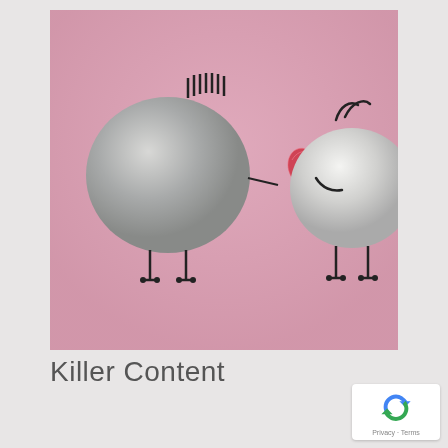[Figure (photo): Two round stones decorated with drawn limbs on a pink background. The left larger grey stone holds a red heart shape. The right smaller white stone has curly hair drawn on top. Both have stick legs drawn below. Cute, whimsical love-themed illustration.]
Killer Content
[Figure (logo): Google reCAPTCHA badge with blue recycling-arrow icon and 'Privacy - Terms' text below]